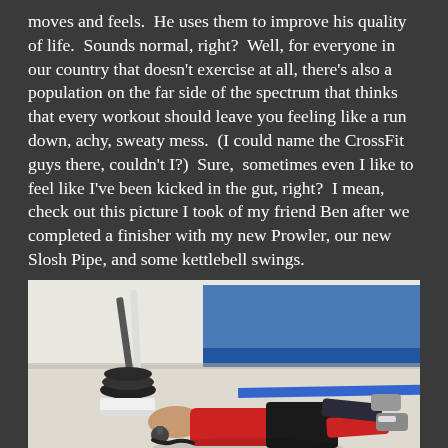moves and feels.  He uses them to improve his quality of life.  Sounds normal, right?  Well, for everyone in our country that doesn't exercise at all, there's also a population on the far side of the spectrum that thinks that every workout should leave you feeling like a run down, achy, sweaty mess.  (I could name the CrossFit guys there, couldn't I?)  Sure,  sometimes even I like to feel like I've been kicked in the gut, right?  I mean, check out this picture I took of my friend Ben after we completed a finisher with my new Prowler, our new Slosh Pipe, and some kettlebell swings.
[Figure (photo): Photo of a person (Ben) lying exhausted on a gym floor next to a Prowler sled with weight discs, after completing a tough workout finisher.]